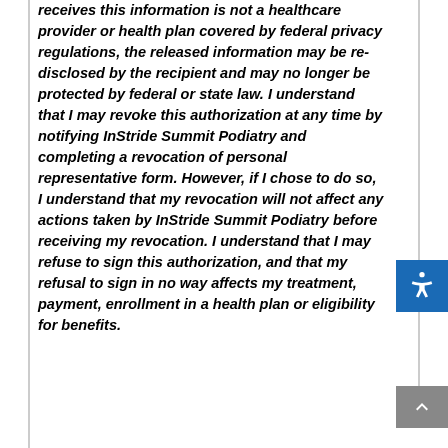receives this information is not a healthcare provider or health plan covered by federal privacy regulations, the released information may be re-disclosed by the recipient and may no longer be protected by federal or state law. I understand that I may revoke this authorization at any time by notifying InStride Summit Podiatry and completing a revocation of personal representative form. However, if I chose to do so, I understand that my revocation will not affect any actions taken by InStride Summit Podiatry before receiving my revocation. I understand that I may refuse to sign this authorization, and that my refusal to sign in no way affects my treatment, payment, enrollment in a health plan or eligibility for benefits.